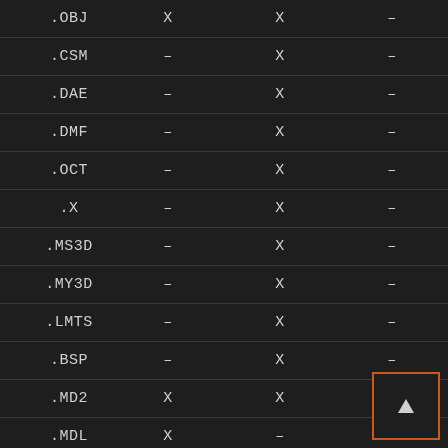| Format | Col2 | Col3 | Col4 |
| --- | --- | --- | --- |
| .OBJ | X | X | – |
| .CSM | – | X | – |
| .DAE | – | X | – |
| .DMF | – | X | – |
| .OCT | – | X | – |
| .X | – | X | – |
| .MS3D | – | X | – |
| .MY3D | – | X | – |
| .LMTS | – | X | – |
| .BSP | – | X | – |
| .MD2 | X | X | – |
| .MDL | X | – | – |
| .ASE | X |  |  |